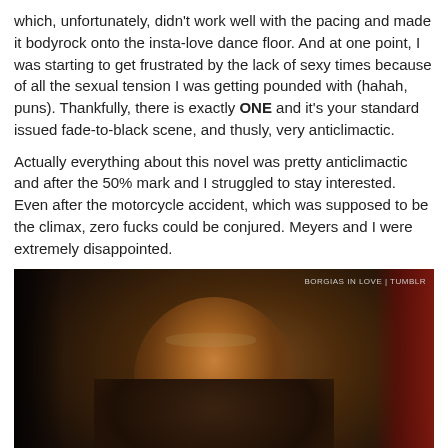which, unfortunately, didn't work well with the pacing and made it bodyrock onto the insta-love dance floor. And at one point, I was starting to get frustrated by the lack of sexy times because of all the sexual tension I was getting pounded with (hahah, puns). Thankfully, there is exactly ONE and it's your standard issued fade-to-black scene, and thusly, very anticlimactic.
Actually everything about this novel was pretty anticlimactic and after the 50% mark and I struggled to stay interested. Even after the motorcycle accident, which was supposed to be the climax, zero fucks could be conjured. Meyers and I were extremely disappointed.
[Figure (photo): Film still of a man in dark medieval/period costume with braided trim and glasses, in dim warm lighting, with a red curtain visible at right edge. Watermark reads 'BORGIAS IN LOVE | TUMBLR'. White italic subtitle at bottom reads 'What? No battles? No glory?']